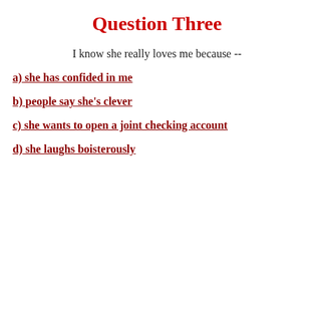Question Three
I know she really loves me because --
a) she has confided in me
b) people say she's clever
c) she wants to open a joint checking account
d) she laughs boisterously